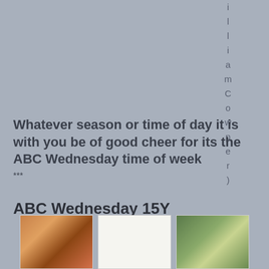i l l i a m C o w p e r )
Whatever season or time of day it is with you be of good cheer for its the ABC Wednesday time of week
***
ABC Wednesday 15Y
[Figure (photo): Three images in a row: left shows cooked food (meat/pastry), center is blank/white, right shows a soup or stew with vegetables.]